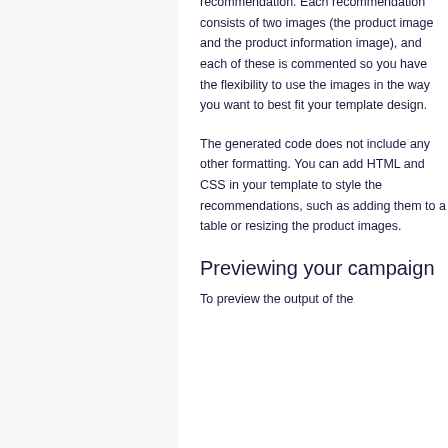recommendation. Each recommendation consists of two images (the product image and the product information image), and each of these is commented so you have the flexibility to use the images in the way you want to best fit your template design.
The generated code does not include any other formatting. You can add HTML and CSS in your template to style the recommendations, such as adding them to a table or resizing the product images.
Previewing your campaign
To preview the output of the